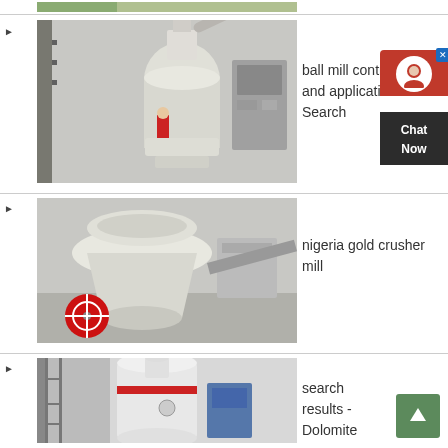[Figure (photo): Industrial ball mill machinery in a factory setting, cut off at top]
[Figure (photo): Industrial ball mill/grinding machine in a large factory hall]
ball mill control theory and application - Search
[Figure (photo): Large cone crusher with red flywheel in a factory]
nigeria gold crusher mill
[Figure (photo): Industrial grinding/milling machine in outdoor/shed setting]
search results - Dolomite